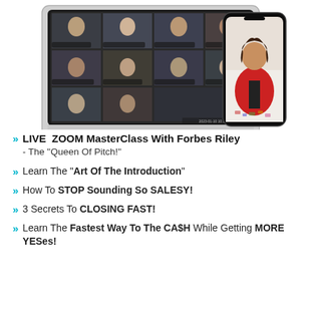[Figure (screenshot): Screenshot of a Zoom video call shown on a desktop iMac monitor with multiple participant thumbnails, alongside a smartphone showing a woman in a red blazer sitting on the floor]
LIVE ZOOM MasterClass With Forbes Riley - The "Queen Of Pitch!"
Learn The "Art Of The Introduction"
How To STOP Sounding So SALESY!
3 Secrets To CLOSING FAST!
Learn The Fastest Way To The CA$H While Getting MORE YESes!